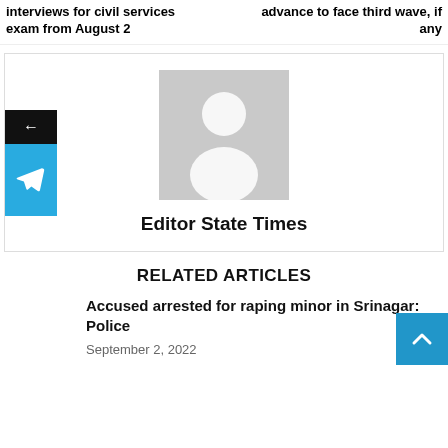interviews for civil services exam from August 2 | advance to face third wave, if any
[Figure (illustration): Author avatar placeholder — grey silhouette of a person on grey background]
Editor State Times
RELATED ARTICLES
Accused arrested for raping minor in Srinagar: Police
September 2, 2022